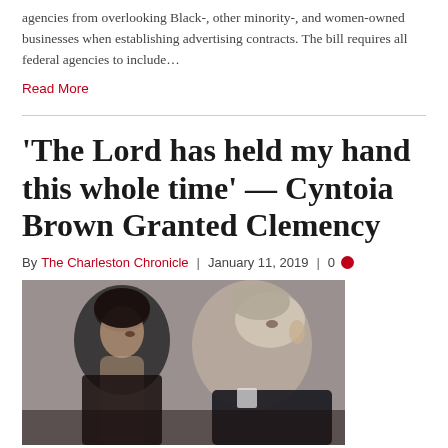agencies from overlooking Black-, other minority-, and women-owned businesses when establishing advertising contracts. The bill requires all federal agencies to include…
Read More
'The Lord has held my hand this whole time' — Cyntoia Brown Granted Clemency
By The Charleston Chronicle | January 11, 2019 | 0
[Figure (photo): A close-up photo of two people, a woman with dark hair and a man with gray hair, in profile.]